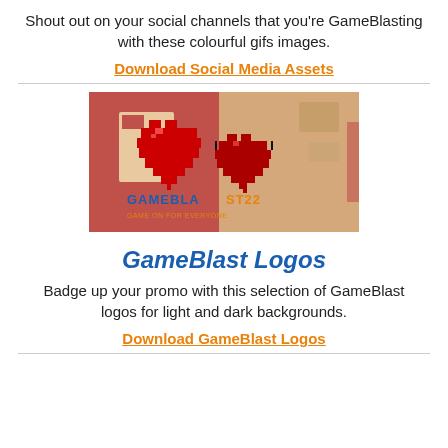Shout out on your social channels that you're GameBlasting with these colourful gifs images.
Download Social Media Assets
[Figure (illustration): Pixel-art style image of two red hearts with 'GAMEBLAST22 GAME ON FOR EVERYONE' text on a reddish-tan background]
GameBlast Logos
Badge up your promo with this selection of GameBlast logos for light and dark backgrounds.
Download GameBlast Logos